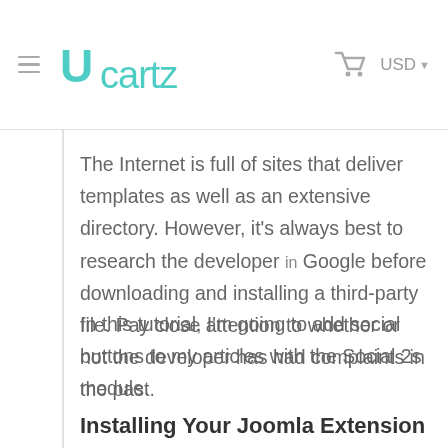Ucartz — USD
The Internet is full of sites that deliver templates as well as an extensive directory. However, it's always best to research the developer in Google before downloading and installing a third-party file. Pay close attention to whether or not the developer has had complaints in the past.
In this tutorial, I'm going to add social buttons to my articles with the Social 2s module.
Installing Your Joomla Extension